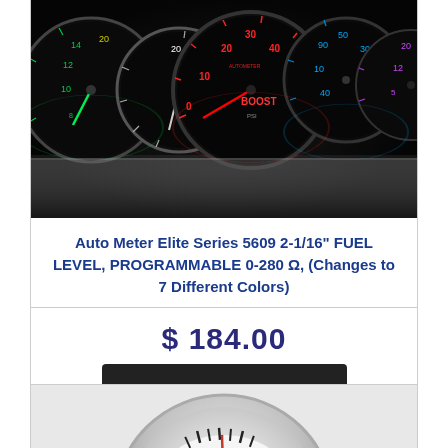[Figure (photo): Multiple Auto Meter Elite Series gauges with colorful illuminated displays on a dark background — green, red, blue, and purple/pink colored gauge faces showing various readings including BOOST gauge in center.]
Auto Meter Elite Series 5609 2-1/16" FUEL LEVEL, PROGRAMMABLE 0-280 Ω, (Changes to 7 Different Colors)
$ 184.00
Add To Cart
[Figure (photo): Partial view of a chrome-rimmed gauge with black and white face, partially visible at the bottom of the page.]